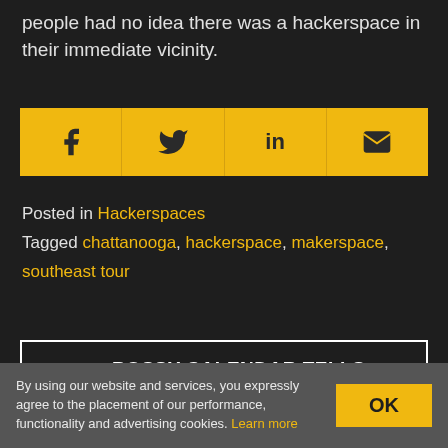people had no idea there was a hackerspace in their immediate vicinity.
[Figure (infographic): Social share bar with icons for Facebook, Twitter, LinkedIn, and Email on a yellow background]
Posted in Hackerspaces
Tagged chattanooga, hackerspace, makerspace, southeast tour
← BOSSY CALENDAR TELLS VISITORS WHEN TO GO AWAY
By using our website and services, you expressly agree to the placement of our performance, functionality and advertising cookies. Learn more